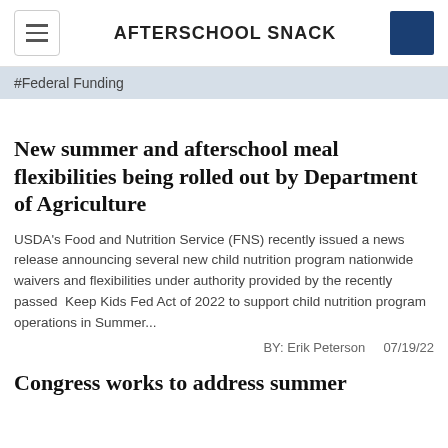AFTERSCHOOL SNACK
#Federal Funding
New summer and afterschool meal flexibilities being rolled out by Department of Agriculture
USDA's Food and Nutrition Service (FNS) recently issued a news release announcing several new child nutrition program nationwide waivers and flexibilities under authority provided by the recently passed  Keep Kids Fed Act of 2022 to support child nutrition program operations in Summer...
BY: Erik Peterson    07/19/22
Congress works to address summer